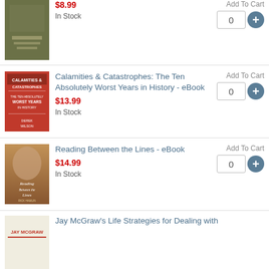[Figure (illustration): Book cover - partially visible, greenish/olive toned cover]
$8.99
In Stock
Add To Cart
0
Calamities & Catastrophes: The Ten Absolutely Worst Years in History - eBook
[Figure (illustration): Book cover - Calamities & Catastrophes, red background with text and imagery]
$13.99
In Stock
Add To Cart
0
Reading Between the Lines - eBook
[Figure (illustration): Book cover - Reading Between the Lines, warm toned with person reading]
$14.99
In Stock
Add To Cart
0
Jay McGraw's Life Strategies for Dealing with
[Figure (illustration): Book cover - Jay McGraw, partially visible]